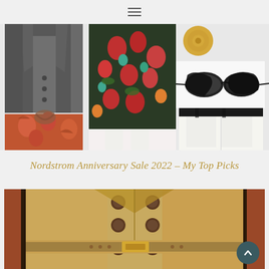Navigation menu icon (hamburger)
[Figure (photo): Fashion collage with 5 items: dark gray blazer (top left), floral midi dress with white boots (center), gold circular earring (top right), black cat-eye sunglasses (right mid), white cropped jeans (right lower), orange-red floral top (bottom left)]
Nordstrom Anniversary Sale 2022 – My Top Picks
[Figure (photo): Close-up photo of a beige/khaki double-breasted trench coat with large brown buttons and brown/orange belt with gold buckle]